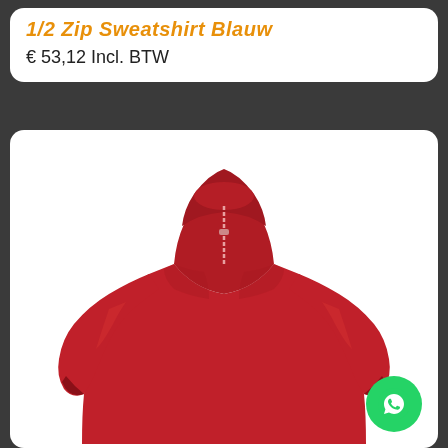1/2 Zip Sweatshirt Blauw
€53,12 Incl. BTW
[Figure (photo): Red 1/2 zip sweatshirt product photo on white background, shown from front with model torso visible, half-zip collar detail visible at neckline]